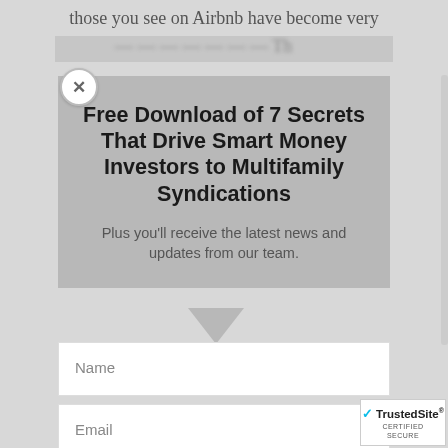those you see on Airbnb have become very
Free Download of 7 Secrets That Drive Smart Money Investors to Multifamily Syndications
Plus you'll receive the latest news and updates from our team.
[Figure (screenshot): Modal popup with name and email fields, GET ACCESS button, and TrustedSite certified secure badge]
GET ACCESS